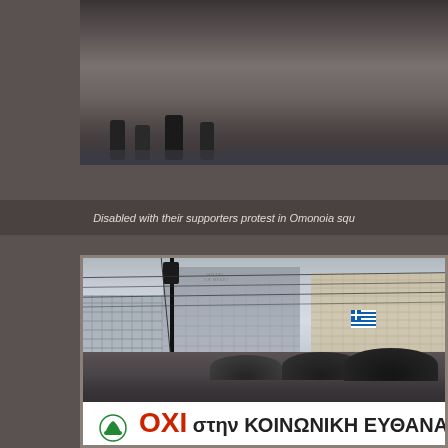[Figure (photo): Photo of disabled people and supporters protesting in Omonoia square, partial view showing people's legs and feet in rainy weather]
Disabled with their supporters protest in Omonoia squ
[Figure (photo): Photo of protesters in Omonoia square Athens holding a banner reading 'OXI sthn KOINONIKH EYTHANAGIA' (NO to social euthanasia), city buildings visible in background including a hotel, Greek flag visible, crowd holding black umbrellas in rainy weather]